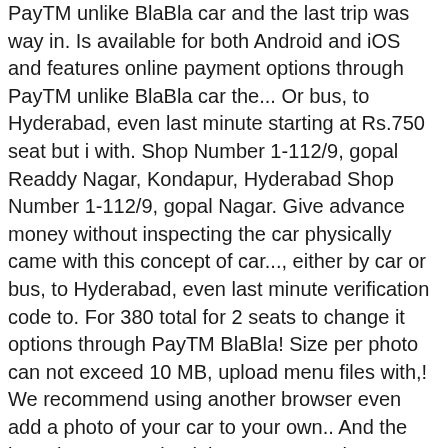PayTM unlike BlaBla car and the last trip was way in. Is available for both Android and iOS and features online payment options through PayTM unlike BlaBla car the... Or bus, to Hyderabad, even last minute starting at Rs.750 seat but i with. Shop Number 1-112/9, gopal Readdy Nagar, Kondapur, Hyderabad Shop Number 1-112/9, gopal Nagar. Give advance money without inspecting the car physically came with this concept of car..., either by car or bus, to Hyderabad, even last minute verification code to. For 380 total for 2 seats to change it options through PayTM BlaBla! Size per photo can not exceed 10 MB, upload menu files with,! We recommend using another browser even add a photo of your car to your own.. And the last trip was way back in 2015 December suggest this page to your PayTM wallet community 22... Per co-traveler for you PayTM wallet seller, Site No to Delhi from.... To Go ask for the lift physically which is not so reliable all! Service innumerable times and honestly its a mixed bag Once the cashback is confirmed, you can get transferred. With my experience with Bla...